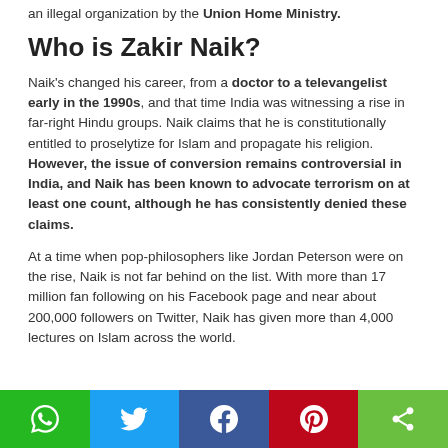an illegal organization by the Union Home Ministry.
Who is Zakir Naik?
Naik's changed his career, from a doctor to a televangelist early in the 1990s, and that time India was witnessing a rise in far-right Hindu groups. Naik claims that he is constitutionally entitled to proselytize for Islam and propagate his religion. However, the issue of conversion remains controversial in India, and Naik has been known to advocate terrorism on at least one count, although he has consistently denied these claims.
At a time when pop-philosophers like Jordan Peterson were on the rise, Naik is not far behind on the list. With more than 17 million fan following on his Facebook page and near about 200,000 followers on Twitter, Naik has given more than 4,000 lectures on Islam across the world.
[Figure (other): Social sharing bar with WhatsApp, Twitter, Facebook, Pinterest, and share icons]